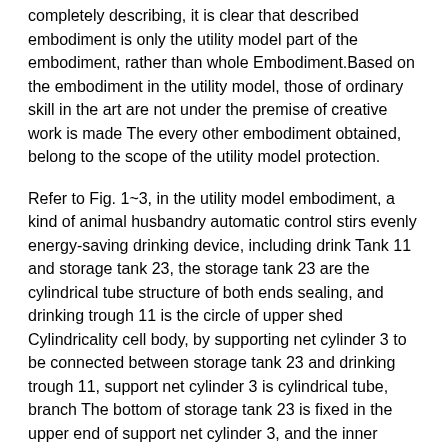completely describing, it is clear that described embodiment is only the utility model part of the embodiment, rather than whole Embodiment.Based on the embodiment in the utility model, those of ordinary skill in the art are not under the premise of creative work is made The every other embodiment obtained, belong to the scope of the utility model protection.
Refer to Fig. 1~3, in the utility model embodiment, a kind of animal husbandry automatic control stirs evenly energy-saving drinking device, including drink Tank 11 and storage tank 23, the storage tank 23 are the cylindrical tube structure of both ends sealing, and drinking trough 11 is the circle of upper shed Cylindricality cell body, by supporting net cylinder 3 to be connected between storage tank 23 and drinking trough 11, support net cylinder 3 is cylindrical tube, branch The bottom of storage tank 23 is fixed in the upper end of support net cylinder 3, and the inner bottom part of drinking trough 11 is fixed in the lower end of support net cylinder 3, described Cone-shaped hood 5 is installed, cone-shaped hood 5 is up-small and down-big pyramidal structure, and the lower section of cone-shaped hood 5 is in drink among the bottom of storage